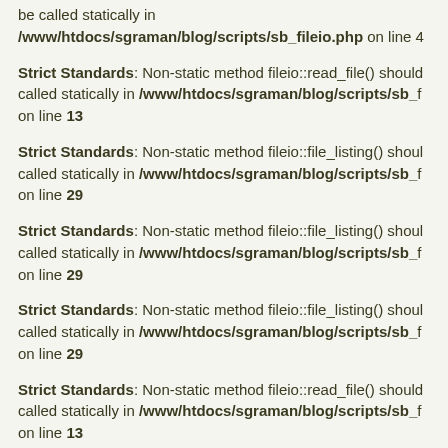be called statically in /www/htdocs/sgraman/blog/scripts/sb_fileio.php on line 4
Strict Standards: Non-static method fileio::read_file() should not be called statically in /www/htdocs/sgraman/blog/scripts/sb_fileio.php on line 13
Strict Standards: Non-static method fileio::file_listing() should not be called statically in /www/htdocs/sgraman/blog/scripts/sb_fileio.php on line 29
Strict Standards: Non-static method fileio::file_listing() should not be called statically in /www/htdocs/sgraman/blog/scripts/sb_fileio.php on line 29
Strict Standards: Non-static method fileio::file_listing() should not be called statically in /www/htdocs/sgraman/blog/scripts/sb_fileio.php on line 29
Strict Standards: Non-static method fileio::read_file() should not be called statically in /www/htdocs/sgraman/blog/scripts/sb_fileio.php on line 13
Strict Standards: Non-static method fileio::read_file() should not be called statically in /www/htdocs/sgraman/blog/scripts/sb_fileio.php on line 13